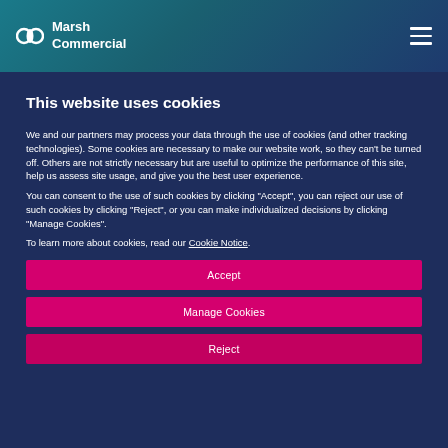Marsh Commercial
This website uses cookies
We and our partners may process your data through the use of cookies (and other tracking technologies). Some cookies are necessary to make our website work, so they can't be turned off. Others are not strictly necessary but are useful to optimize the performance of this site, help us assess site usage, and give you the best user experience.
You can consent to the use of such cookies by clicking "Accept", you can reject our use of such cookies by clicking "Reject", or you can make individualized decisions by clicking "Manage Cookies".
To learn more about cookies, read our Cookie Notice.
Accept
Manage Cookies
Reject